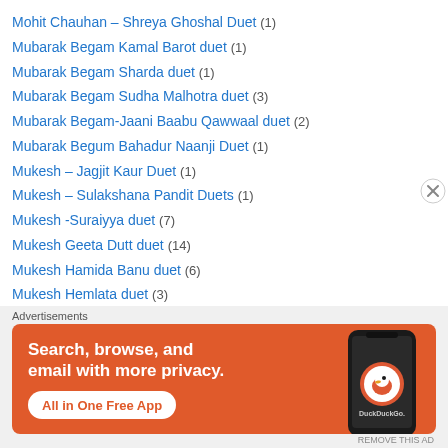Mohit Chauhan – Shreya Ghoshal Duet (1)
Mubarak Begam Kamal Barot duet (1)
Mubarak Begam Sharda duet (1)
Mubarak Begam Sudha Malhotra duet (3)
Mubarak Begam-Jaani Baabu Qawwaal duet (2)
Mubarak Begum Bahadur Naanji Duet (1)
Mukesh – Jagjit Kaur Duet (1)
Mukesh – Sulakshana Pandit Duets (1)
Mukesh -Suraiyya duet (7)
Mukesh Geeta Dutt duet (14)
Mukesh Hamida Banu duet (6)
Mukesh Hemlata duet (3)
Mukesh Kamal Barot duet (2)
Mukesh Kishore Kumar duet (1)
[Figure (infographic): DuckDuckGo advertisement banner with orange background showing 'Search, browse, and email with more privacy. All in One Free App' with a phone graphic and DuckDuckGo logo]